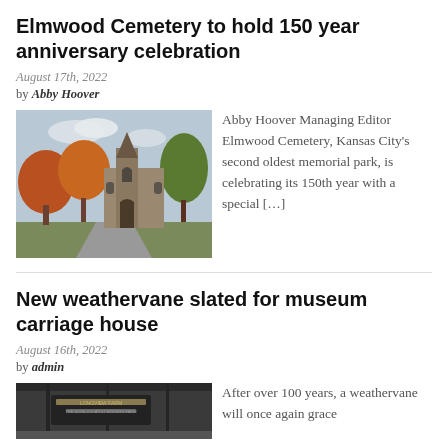Elmwood Cemetery to hold 150 year anniversary celebration
August 17th, 2022
by Abby Hoover
[Figure (photo): Exterior photo of Elmwood Cemetery chapel with colorful autumn trees]
Abby Hoover Managing Editor Elmwood Cemetery, Kansas City's second oldest memorial park, is celebrating its 150th year with a special […]
New weathervane slated for museum carriage house
August 16th, 2022
by admin
[Figure (photo): Interior of Longview Farm museum carriage house with sign visible]
After over 100 years, a weathervane will once again grace